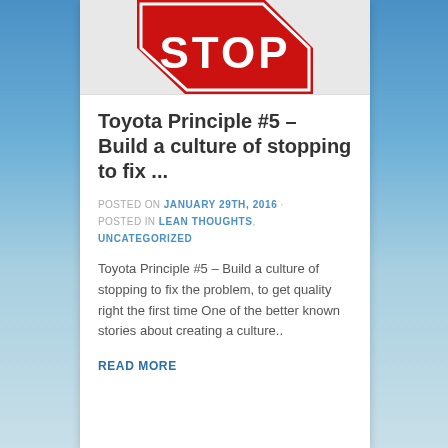[Figure (illustration): A red stop sign (octagon shape) partially cropped at the top of the card, showing 'STOP' text in white on red background]
Toyota Principle #5 – Build a culture of stopping to fix ...
POSTED ON JANUARY 29TH, 2016 · POSTED IN LEAN THOUGHTS, UNCATEGORIZED
Toyota Principle #5 – Build a culture of stopping to fix the problem, to get quality right the first time One of the better known stories about creating a culture..
READ MORE